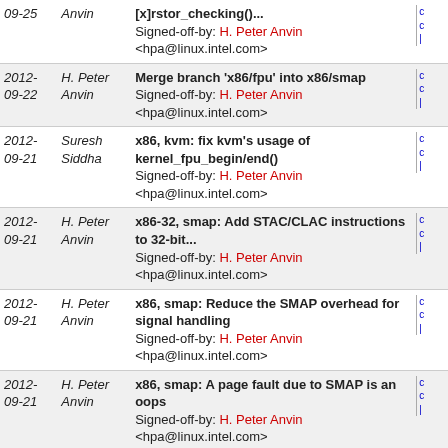| Date | Author | Commit Message | Links |
| --- | --- | --- | --- |
| 09-25 | Anvin | [x]rstor_checking()...
Signed-off-by: H. Peter Anvin <hpa@linux.intel.com> |  |
| 2012-09-22 | H. Peter Anvin | Merge branch 'x86/fpu' into x86/smap
Signed-off-by: H. Peter Anvin <hpa@linux.intel.com> |  |
| 2012-09-21 | Suresh Siddha | x86, kvm: fix kvm's usage of kernel_fpu_begin/end()
Signed-off-by: H. Peter Anvin <hpa@linux.intel.com> |  |
| 2012-09-21 | H. Peter Anvin | x86-32, smap: Add STAC/CLAC instructions to 32-bit...
Signed-off-by: H. Peter Anvin <hpa@linux.intel.com> |  |
| 2012-09-21 | H. Peter Anvin | x86, smap: Reduce the SMAP overhead for signal handling
Signed-off-by: H. Peter Anvin <hpa@linux.intel.com> |  |
| 2012-09-21 | H. Peter Anvin | x86, smap: A page fault due to SMAP is an oops
Signed-off-by: H. Peter Anvin <hpa@linux.intel.com> |  |
| 2012-09-21 | H. Peter Anvin | x86, smap: Turn on Supervisor Mode Access Prevention
Signed-off-by: H. Peter Anvin <hpa@linux.intel.com> |  |
| 2012-09-21 | H. Peter Anvin | x86, smap: Add STAC and CLAC instructions to control...
Signed-off-by: H. Peter Anvin <hpa@linux.intel.com> |  |